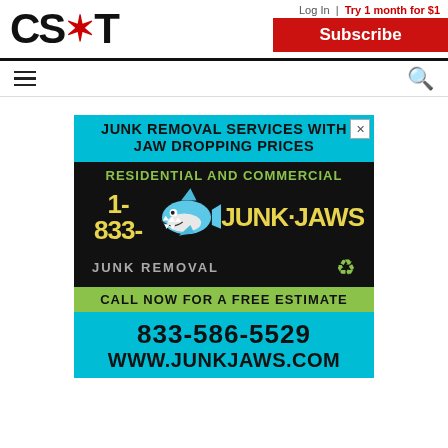[Figure (logo): CS*T Chicago Sun-Times logo with red star asterisk]
Log In | Try 1 month for $1
Subscribe
[Figure (illustration): Junk Jaws advertisement: JUNK REMOVAL SERVICES WITH JAW DROPPING PRICES. RESIDENTIAL AND COMMERCIAL. 1-833-JUNK-JAWS JUNK REMOVAL. CALL NOW FOR A FREE ESTIMATE. 833-586-5529. WWW.JUNKJAWS.COM]